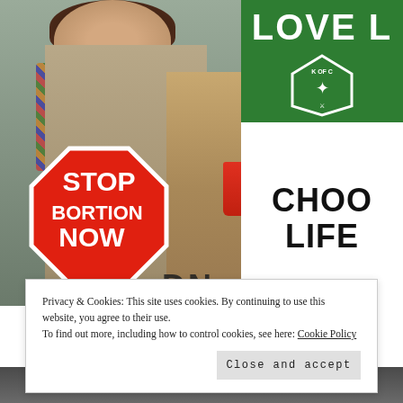[Figure (photo): Photo of two protesters at what appears to be an anti-abortion rally. A smiling woman on the left holds a red stop-sign shaped sign reading 'STOP ABORTION NOW'. A person on the right holds a green and white sign reading 'LOVE L... CHOOSE LIFE' with a Knights of Columbus emblem. The woman wears a colorful plaid scarf. The person on the right holds a red cup.]
Privacy & Cookies: This site uses cookies. By continuing to use this website, you agree to their use.
To find out more, including how to control cookies, see here: Cookie Policy
Close and accept